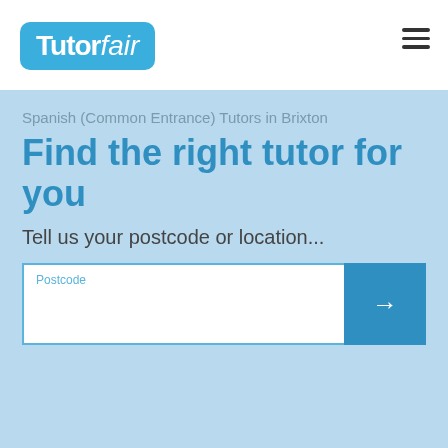TutorFair
Spanish (Common Entrance) Tutors in Brixton
Find the right tutor for you
Tell us your postcode or location...
Postcode
Our Common Entrance Spanish tutors in Brixton are here to help! Search using your postcode to find the best Common Entrance Spanish tutor in Brixton.
This website uses cookies to ensure you get the best experience on our website.  Learn more
18 Common Entrance Spanish Tutors in Brixton